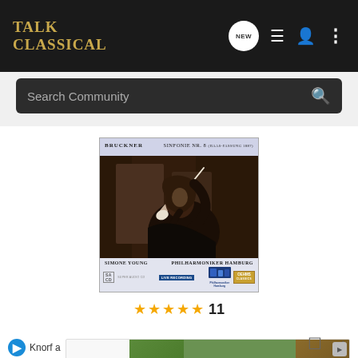Talk Classical — navigation header with logo, NEW button, list icon, user icon, more icon
Search Community
[Figure (photo): Album cover: Bruckner Sinfonie Nr. 8, Simone Young, Philharmoniker Hamburg, Oehms Classics. SACD Live Recording. Shows conductor (woman with long dark hair) conducting with baton.]
★★★★★ 11
Knorf a
[Figure (photo): UNICEF advertisement banner showing logo and children smiling]